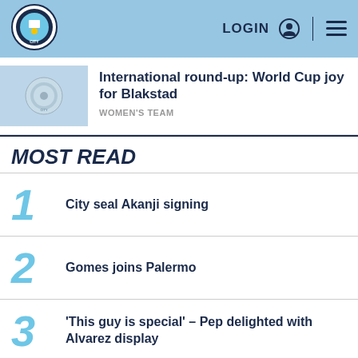Manchester City — LOGIN navigation header
International round-up: World Cup joy for Blakstad
WOMEN'S TEAM
MOST READ
1 City seal Akanji signing
2 Gomes joins Palermo
3 'This guy is special' – Pep delighted with Alvarez display